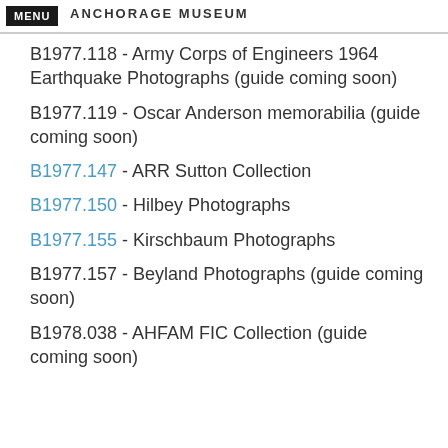MENU | ANCHORAGE MUSEUM
B1977.118 - Army Corps of Engineers 1964 Earthquake Photographs (guide coming soon)
B1977.119 - Oscar Anderson memorabilia (guide coming soon)
B1977.147 - ARR Sutton Collection
B1977.150 - Hilbey Photographs
B1977.155 - Kirschbaum Photographs
B1977.157 - Beyland Photographs (guide coming soon)
B1978.038 - AHFAM FIC Collection (guide coming soon)